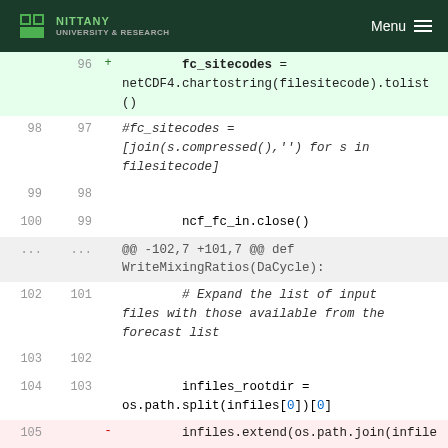NITTANY | UNIVERSITY & RESEARCH  Menu
[Figure (screenshot): Code diff view showing Python source code changes with line numbers, added lines in green and removed lines in red. Lines 96-105 shown with diff markers.]